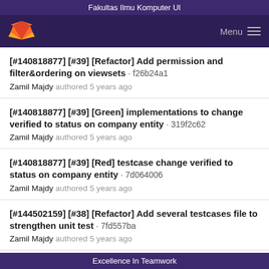Fakultas Ilmu Komputer UI
[#140818877] [#39] [Refactor] Add permission and filter&ordering on viewsets · f26b24a1
Zamil Majdy authored 5 years ago
[#140818877] [#39] [Green] implementations to change verified to status on company entity · 319f2c62
Zamil Majdy authored 5 years ago
[#140818877] [#39] [Red] testcase change verified to status on company entity · 7d064006
Zamil Majdy authored 5 years ago
[#144502159] [#38] [Refactor] Add several testcases file to strengthen unit test · 7fd557ba
Zamil Majdy authored 5 years ago
02 May, 2017 2 commits
Excellence In Teamwork